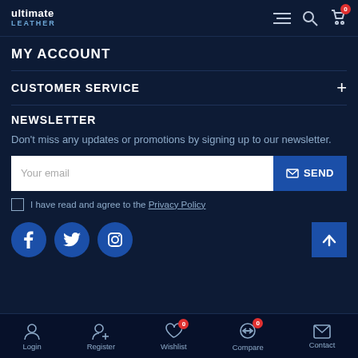ultimate LEATHER — navigation header with menu, search, and cart icons
MY ACCOUNT
CUSTOMER SERVICE +
NEWSLETTER
Don't miss any updates or promotions by signing up to our newsletter.
Your email — SEND button
I have read and agree to the Privacy Policy
[Figure (infographic): Social media icons: Facebook, Twitter, Instagram circles, and a scroll-to-top arrow button]
Login | Register | Wishlist 0 | Compare 0 | Contact